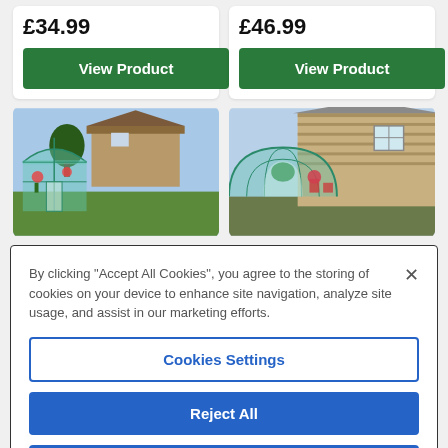£34.99
View Product
£46.99
View Product
[Figure (photo): Greenhouse with green plastic cover in a garden with stone cottage in background]
[Figure (photo): Large tunnel greenhouse with open door next to stone building]
By clicking "Accept All Cookies", you agree to the storing of cookies on your device to enhance site navigation, analyze site usage, and assist in our marketing efforts.
Cookies Settings
Reject All
Accept All Cookies